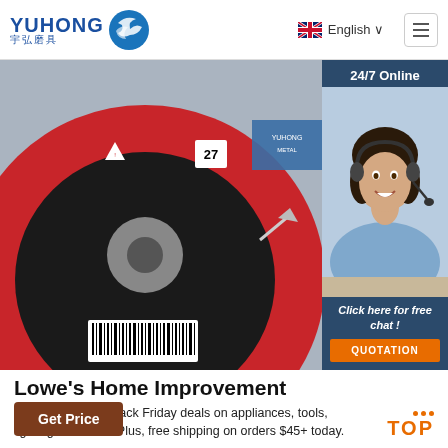[Figure (logo): Yuhong logo with blue wave icon, text YUHONG in blue and Chinese characters 宇弘磨具]
English ∨
[Figure (photo): Close-up photo of a red and black grinding/abrasive disc with barcode, angle grinder wheel]
[Figure (photo): 24/7 Online chat widget showing a woman with headset smiling, with Click here for free chat! text and QUOTATION button]
Lowe's Home Improvement
Discover Lowe's Black Friday deals on appliances, tools, lighting and more. Plus, free shipping on orders $45+ today.
Get Price